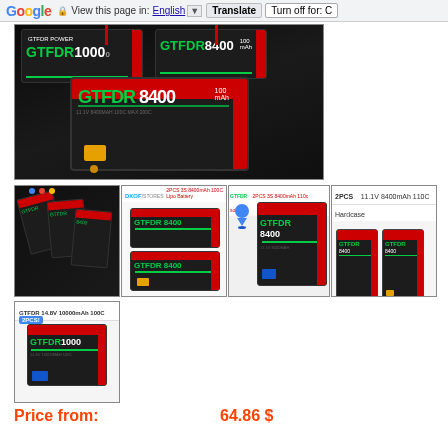Google  View this page in: English  Translate  Turn off for: C
[Figure (photo): Large product image showing GTFDR brand LiPo batteries including 10000mAh and 8400mAh models on dark background]
[Figure (photo): Thumbnail showing multiple GTFDR LiPo batteries of various sizes with different connectors]
[Figure (photo): Thumbnail showing 2PCS GTFDR 8400mAh LiPo batteries with XT90 connectors and text overlay]
[Figure (photo): Thumbnail showing 2PCS GTFDR 8400mAh 110C softcase LiPo batteries]
[Figure (photo): Thumbnail showing 2PCS 11.1V 8400mAh 110C Hardcase GTFDR batteries side by side on white background]
[Figure (photo): Thumbnail showing GTFDR 14.8V 10000mAh 100C 2PCS LiPo battery on light background]
Price from:
64.86 $